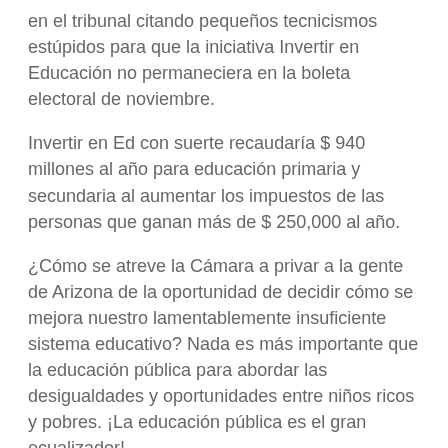en el tribunal citando pequeños tecnicismos estúpidos para que la iniciativa Invertir en Educación no permaneciera en la boleta electoral de noviembre.
Invertir en Ed con suerte recaudaría $ 940 millones al año para educación primaria y secundaria al aumentar los impuestos de las personas que ganan más de $ 250,000 al año.
¿Cómo se atreve la Cámara a privar a la gente de Arizona de la oportunidad de decidir cómo se mejora nuestro lamentablemente insuficiente sistema educativo? Nada es más importante que la educación pública para abordar las desigualdades y oportunidades entre niños ricos y pobres. ¡La educación pública es el gran ecualizador!